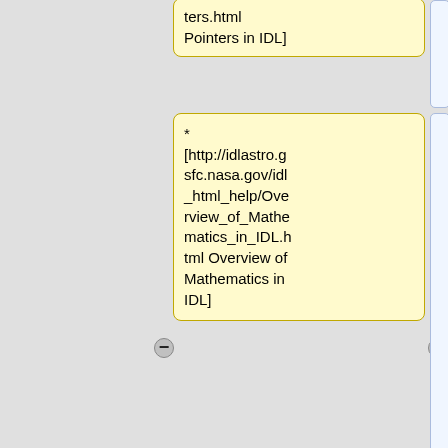* [http://idlastro.gsfc.nasa.gov/idl_html_help/Overview_of_Mathematics_in_IDL.html Overview of Mathematics in IDL]
* [http://www.dfanning.com/ Coyote's Guide to IDL Programming (David Fanning's Web Site)] - Lots of tips on how to